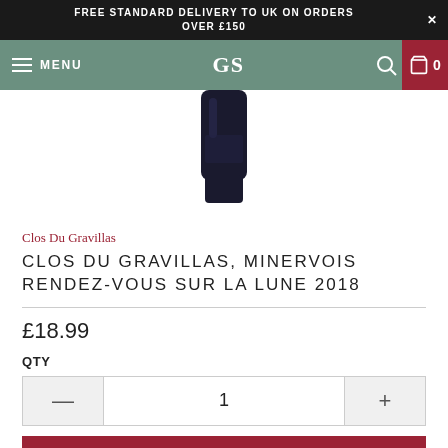FREE STANDARD DELIVERY TO UK ON ORDERS OVER £150
MENU GS 0
[Figure (photo): Bottom portion of a dark wine bottle against a white background]
Clos Du Gravillas
CLOS DU GRAVILLAS, MINERVOIS RENDEZ-VOUS SUR LA LUNE 2018
£18.99
QTY
1
ADD TO BASKET